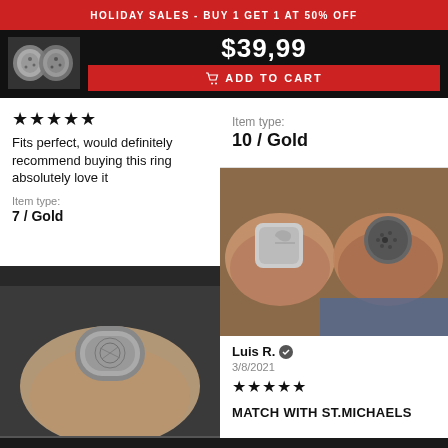HOLIDAY SALES - BUY 1 GET 1 AT 50% OFF
$39,99
ADD TO CART
★★★★★
Fits perfect, would definitely recommend buying this ring absolutely love it
Item type:
7 / Gold
Item type:
10 / Gold
[Figure (photo): Close-up photo of a hand wearing a decorative silver ring with engraved design]
[Figure (photo): Two rings held in hands - one square silver ring and one round dark textured ring]
Luis R. ✓
3/8/2021
★★★★★
MATCH WITH ST.MICHAELS